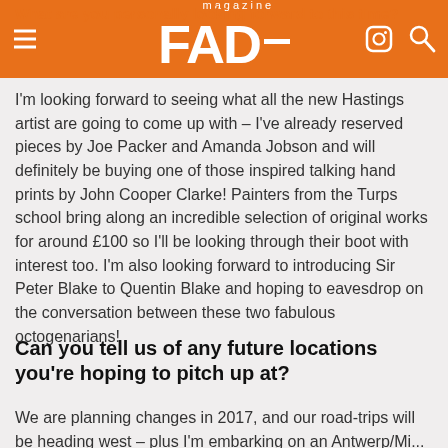FAD magazine
I'm looking forward to seeing what all the new Hastings artist are going to come up with – I've already reserved pieces by Joe Packer and Amanda Jobson and will definitely be buying one of those inspired talking hand prints by John Cooper Clarke! Painters from the Turps school bring along an incredible selection of original works for around £100 so I'll be looking through their boot with interest too. I'm also looking forward to introducing Sir Peter Blake to Quentin Blake and hoping to eavesdrop on the conversation between these two fabulous octogenarians!
Can you tell us of any future locations you're hoping to pitch up at?
We are planning changes in 2017, and our road-trips will be heading west – plus I'm embarking on an Antwerp/Midi...